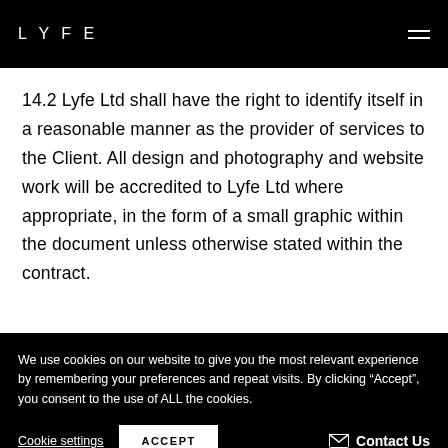LYFE
14.2 Lyfe Ltd shall have the right to identify itself in a reasonable manner as the provider of services to the Client. All design and photography and website work will be accredited to Lyfe Ltd where appropriate, in the form of a small graphic within the document unless otherwise stated within the contract.
We use cookies on our website to give you the most relevant experience by remembering your preferences and repeat visits. By clicking “Accept”, you consent to the use of ALL the cookies.
Cookie settings
ACCEPT
Contact Us